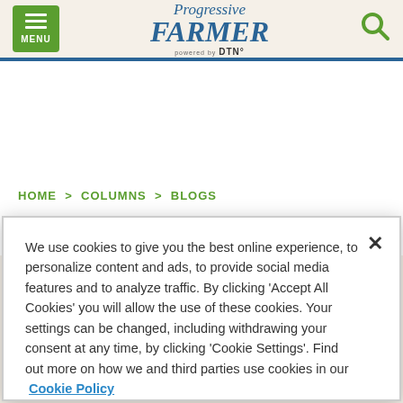Progressive FARMER powered by DTN — MENU | Search
HOME > COLUMNS > BLOGS
Blogs
We use cookies to give you the best online experience, to personalize content and ads, to provide social media features and to analyze traffic. By clicking 'Accept All Cookies' you will allow the use of these cookies. Your settings can be changed, including withdrawing your consent at any time, by clicking 'Cookie Settings'. Find out more on how we and third parties use cookies in our Cookie Policy
Cookies Settings | Accept All Cookies